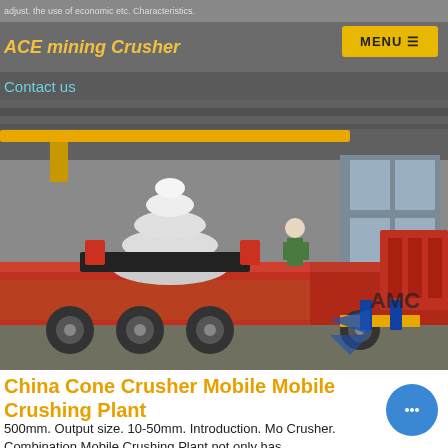adjust. the use of economic etc. Characteristics.
ACE mining Crusher
MENU
Contact us
[Figure (photo): Industrial photo of a cone crusher mounted on a mobile crushing plant (red flatbed trailer) inside a factory/warehouse facility with a yellow overhead crane. A worker in a green vest is visible. AMC logo visible on right side.]
China Cone Crusher Mobile Mobile Crushing Plant
500mm. Output size. 10-50mm. Introduction. Mo Crusher. Combination Mobile Crushing Plant not only has